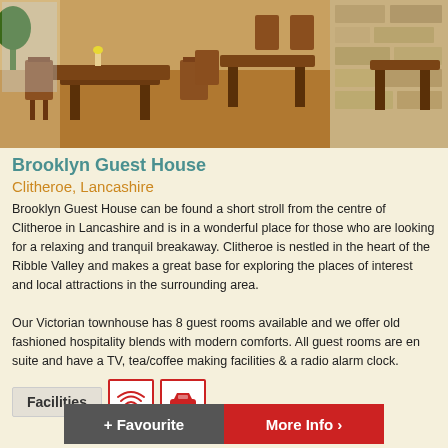[Figure (photo): Interior dining room of Brooklyn Guest House showing wooden tables and chairs, stone wall on the right, bright windows on the left, parquet flooring]
Brooklyn Guest House
Clitheroe, Lancashire
Brooklyn Guest House can be found a short stroll from the centre of Clitheroe in Lancashire and is in a wonderful place for those who are looking for a relaxing and tranquil breakaway. Clitheroe is nestled in the heart of the Ribble Valley and makes a great base for exploring the places of interest and local attractions in the surrounding area.

Our Victorian townhouse has 8 guest rooms available and we offer old fashioned hospitality blends with modern comforts. All guest rooms are en suite and have a TV, tea/coffee making facilities & a radio alarm clock.
Facilities [WiFi icon] [Parking icon]
+ Favourite  More Info >